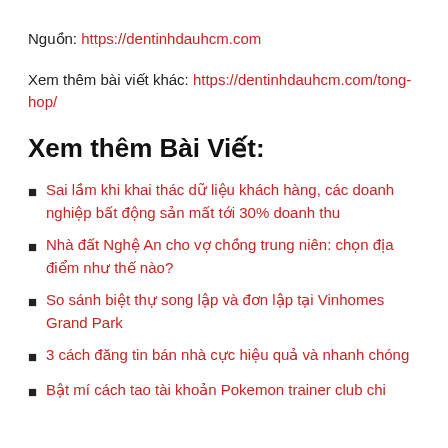Nguồn: https://dentinhdauhcm.com
Xem thêm bài viết khác: https://dentinhdauhcm.com/tong-hop/
Xem thêm Bài Viết:
Sai lầm khi khai thác dữ liệu khách hàng, các doanh nghiệp bất động sản mất tới 30% doanh thu
Nhà đất Nghệ An cho vợ chồng trung niên: chọn địa điểm như thế nào?
So sánh biệt thự song lập và đơn lập tại Vinhomes Grand Park
3 cách đăng tin bán nhà cực hiệu quả và nhanh chóng
Bật mí cách tao tài khoản Pokemon trainer club chi